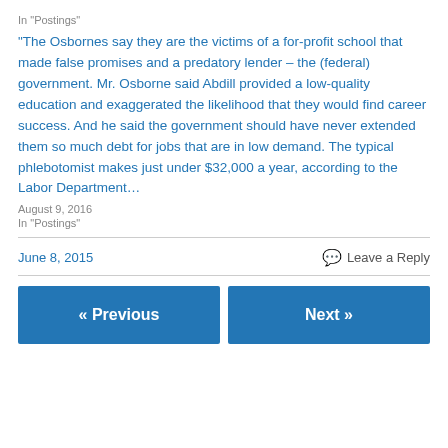In "Postings"
“The Osbornes say they are the victims of a for-profit school that made false promises and a predatory lender – the (federal) government. Mr. Osborne said Abdill provided a low-quality education and exaggerated the likelihood that they would find career success. And he said the government should have never extended them so much debt for jobs that are in low demand. The typical phlebotomist makes just under $32,000 a year, according to the Labor Department…
August 9, 2016
In "Postings"
June 8, 2015
Leave a Reply
« Previous
Next »